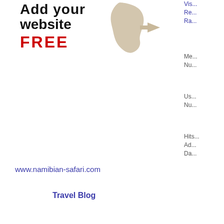[Figure (logo): Add your website FREE logo with Africa map silhouette and arrows]
Vis...
Re...
Ra...
Me...
Nu...
Us...
Nu...
Hits...
Ad...
Da...
www.namibian-safari.com
Travel Blog